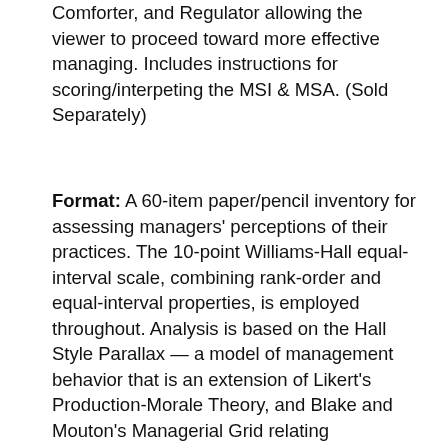Comforter, and Regulator allowing the viewer to proceed toward more effective managing. Includes instructions for scoring/interpeting the MSI & MSA. (Sold Separately)
Format: A 60-item paper/pencil inventory for assessing managers' perceptions of their practices. The 10-point Williams-Hall equal-interval scale, combining rank-order and equal-interval properties, is employed throughout. Analysis is based on the Hall Style Parallax — a model of management behavior that is an extension of Likert's Production-Morale Theory, and Blake and Mouton's Managerial Grid relating performance concerns with people concerns. The inventory provides a total score for each of the five management styles described by the model, as well as scores for each style on four components: philosophy, planning, implementation, and evaluation. The inventory provides managers with a way of relating their personal priorities with their on-the-job practices and discovering areas needing change. Normative data and conversion tables afford personal